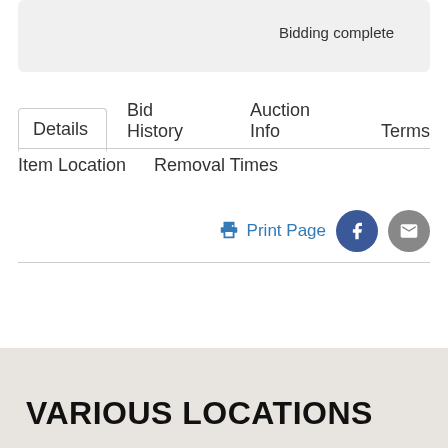Bidding complete
Details | Bid History | Auction Info | Terms
Item Location | Removal Times
Print Page
VARIOUS LOCATIONS